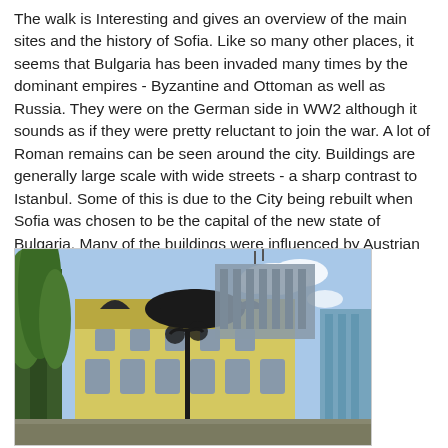The walk is Interesting and gives an overview of the main sites and the history of Sofia. Like so many other places, it seems that Bulgaria has been invaded many times by the dominant empires - Byzantine and Ottoman as well as Russia. They were on the German side in WW2 although it sounds as if they were pretty reluctant to join the war. A lot of Roman remains can be seen around the city. Buildings are generally large scale with wide streets - a sharp contrast to Istanbul. Some of this is due to the City being rebuilt when Sofia was chosen to be the capital of the new state of Bulgaria. Many of the buildings were influenced by Austrian architecture and styles from Central Europe.
[Figure (photo): Photograph of a large ornate European-style building in Sofia, Bulgaria, with a black dome-like roof feature and yellow facade, tall trees on the left, a modern glass building visible on the right, blue sky with clouds in the background, and a decorative lamppost in the foreground.]